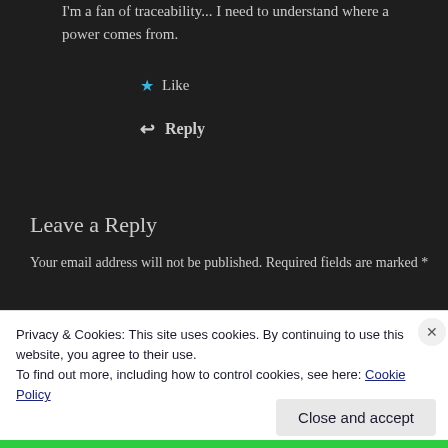I'm a fan of traceability... I need to understand where a power comes from.
★ Like
↩ Reply
Leave a Reply
Your email address will not be published. Required fields are marked *
Comment *
Privacy & Cookies: This site uses cookies. By continuing to use this website, you agree to their use.
To find out more, including how to control cookies, see here: Cookie Policy
Close and accept